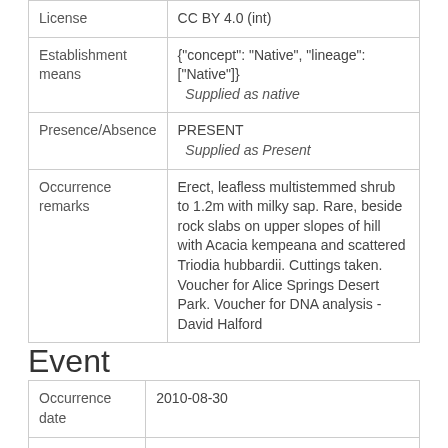| Field | Value |
| --- | --- |
| License | CC BY 4.0 (int) |
| Establishment means | {"concept": "Native", "lineage": ["Native"]}
Supplied as native |
| Presence/Absence | PRESENT
Supplied as Present |
| Occurrence remarks | Erect, leafless multistemmed shrub to 1.2m with milky sap. Rare, beside rock slabs on upper slopes of hill with Acacia kempeana and scattered Triodia hubbardii. Cuttings taken. Voucher for Alice Springs Desert Park. Voucher for DNA analysis - David Halford |
Event
| Field | Value |
| --- | --- |
| Occurrence date | 2010-08-30 |
| Date precision | DAY |
Taxonomy